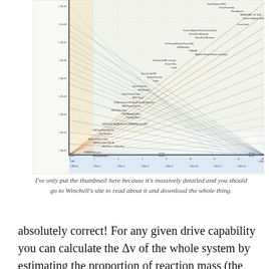[Figure (engineering-diagram): A highly detailed rocket/spacecraft delta-v map or mission planning chart with numerous diagonal lines, labels for various propulsion systems, missions, and destinations arranged in a complex logarithmic or linear grid with colored sections (green, orange, blue). Text is extremely small and dense throughout.]
I've only put the thumbnail here because it's massively detailed and you should go to Winchell's site to read about it and download the whole thing.
absolutely correct! For any given drive capability you can calculate the Δv of the whole system by estimating the proportion of reaction mass (the mass you store only so you can shoot it